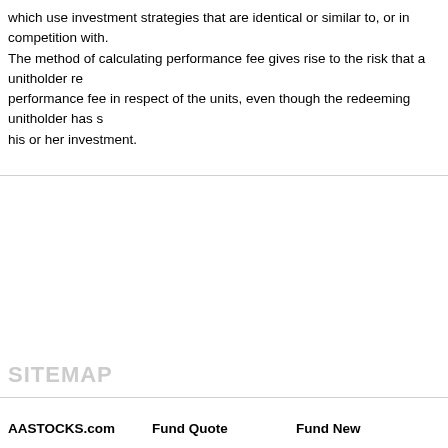which use investment strategies that are identical or similar to, or in competition with. The method of calculating performance fee gives rise to the risk that a unitholder redeeming performance fee in respect of the units, even though the redeeming unitholder has suffered his or her investment.
SITEMAP
AASTOCKS.com   Fund Quote   Fund New